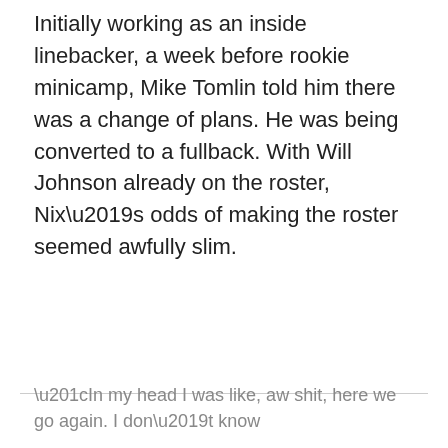Initially working as an inside linebacker, a week before rookie minicamp, Mike Tomlin told him there was a change of plans. He was being converted to a fullback. With Will Johnson already on the roster, Nix's odds of making the roster seemed awfully slim.
“In my head I was like, aw shit, here we go again. I don’t know